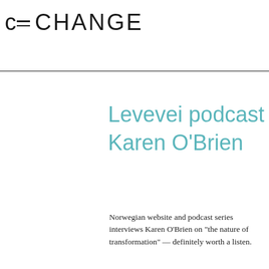c CHANGE
Levevei podcast Karen O'Brien
Norwegian website and podcast series interviews Karen O'Brien on "the nature of transformation" — definitely worth a listen.